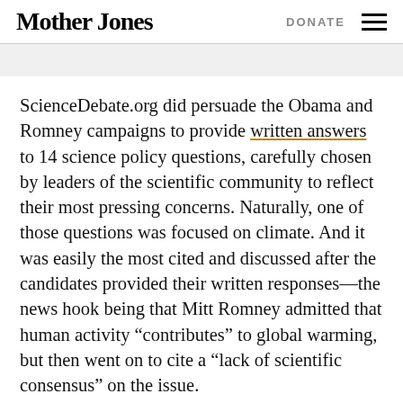Mother Jones | DONATE
ScienceDebate.org did persuade the Obama and Romney campaigns to provide written answers to 14 science policy questions, carefully chosen by leaders of the scientific community to reflect their most pressing concerns. Naturally, one of those questions was focused on climate. And it was easily the most cited and discussed after the candidates provided their written responses—the news hook being that Mitt Romney admitted that human activity “contributes” to global warming, but then went on to cite a “lack of scientific consensus” on the issue.
Yet climate isn’t unique on the ScienceDebate.org